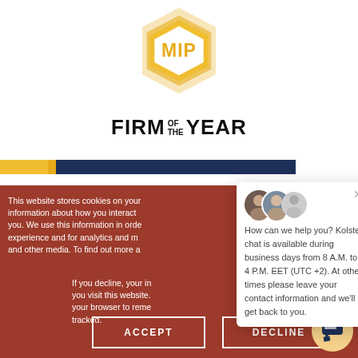[Figure (logo): MIP hexagon logo in gold/yellow, with text FIRM OF THE YEAR below]
This website stores cookies on your information about how you interact you. We use this information in orde experience and for analytics and m and other media. To find out more a
If you decline, your in you visit this website. your browser to reme tracked.
How can we help you? Kolster chat is available during business days from 8 A.M. to 4 P.M. EET (UTC +2). At other times please leave your contact information and we'll get back to you.
ACCEPT
DECLINE